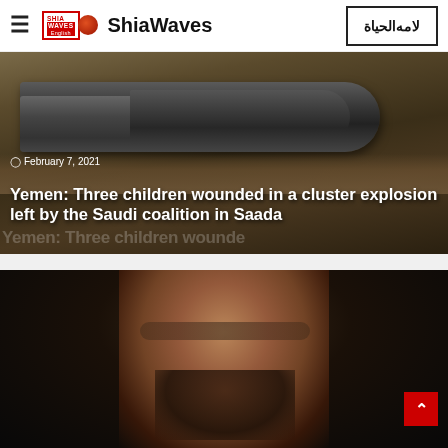ShiaWaves
[Figure (screenshot): News article card showing a close-up photo of a cluster munition / artillery shell on rocky ground with date February 7, 2021 and headline text overlay]
Yemen: Three children wounded in a cluster explosion left by the Saudi coalition in Saada
[Figure (photo): Dark photo of a bearded man wearing glasses, close-up portrait against a dark background with a red scroll-to-top button in the bottom right corner]